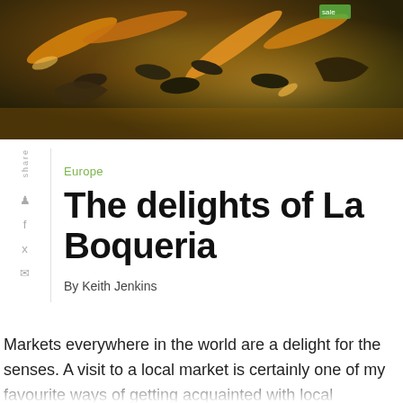[Figure (photo): Close-up photo of seafood and shellfish including prawns, mussels and lobsters at a market stall, with warm orange and brown tones]
Europe
The delights of La Boqueria
By Keith Jenkins
Markets everywhere in the world are a delight for the senses. A visit to a local market is certainly one of my favourite ways of getting acquainted with local customs. One of the most delightful markets I've ever visited is the La Boqueria market in downtown Barcelona (map), just off the